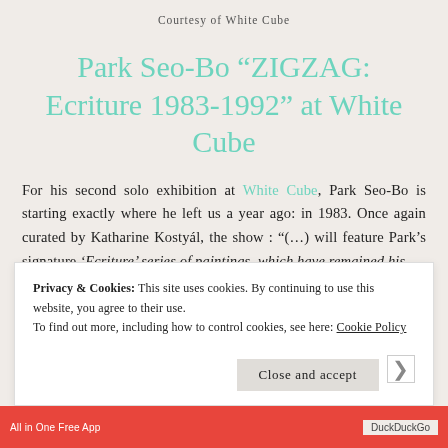Courtesy of White Cube
Park Seo-Bo “ZIGZAG: Ecriture 1983-1992” at White Cube
For his second solo exhibition at White Cube, Park Seo-Bo is starting exactly where he left us a year ago: in 1983. Once again curated by Katharine Kostyál, the show : “(…) will feature Park’s signature ‘Ecriture’ series of paintings, which have remained his
Privacy & Cookies: This site uses cookies. By continuing to use this website, you agree to their use.
To find out more, including how to control cookies, see here: Cookie Policy
Close and accept